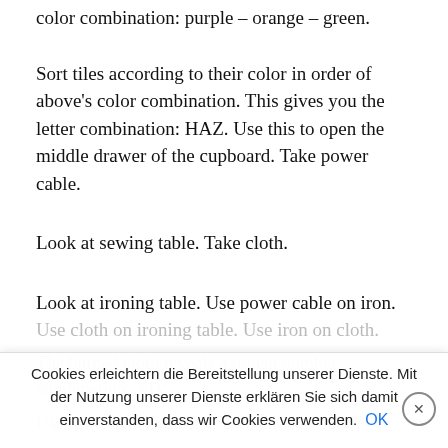color combination: purple – orange – green.
Sort tiles according to their color in order of above's color combination. This gives you the letter combination: HAZ. Use this to open the middle drawer of the cupboard. Take power cable.
Look at sewing table. Take cloth.
Look at ironing table. Use power cable on iron. Use cloth on ironing table. Use iron on cloth.
The burned cloth reveals a roman number combination: XIV.
Use the roman number combination to open
Cookies erleichtern die Bereitstellung unserer Dienste. Mit der Nutzung unserer Dienste erklären Sie sich damit einverstanden, dass wir Cookies verwenden. OK